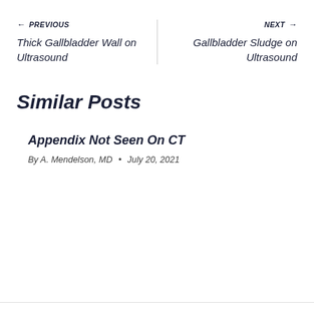← PREVIOUS
Thick Gallbladder Wall on Ultrasound
NEXT →
Gallbladder Sludge on Ultrasound
Similar Posts
Appendix Not Seen On CT
By A. Mendelson, MD • July 20, 2021